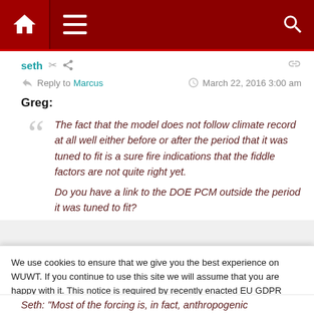[Figure (screenshot): Website navigation bar with dark red background showing home icon, hamburger menu, and search icon]
seth
Reply to Marcus   March 22, 2016 3:00 am
Greg:
The fact that the model does not follow climate record at all well either before or after the period that it was tuned to fit is a sure fire indications that the fiddle factors are not quite right yet.
Do you have a link to the DOE PCM outside the period it was tuned to fit?
We use cookies to ensure that we give you the best experience on WUWT. If you continue to use this site we will assume that you are happy with it. This notice is required by recently enacted EU GDPR rules, and since WUWT is a globally read website, we need to keep the bureaucrats off our case! Cookie Policy
Seth: "Most of the forcing is, in fact, anthropogenic